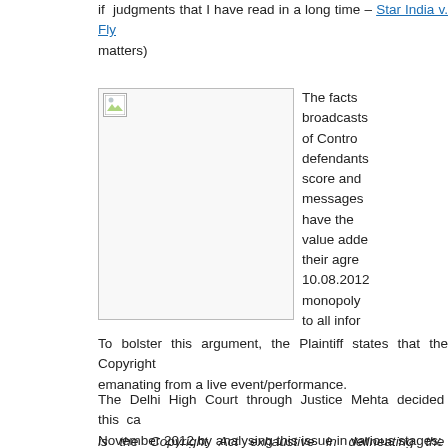if judgments that I have read in a long time – Star India v. Fly matters)
[Figure (photo): Broken image placeholder icon in upper left corner of a white rectangular box with border]
The facts broadcasts of Contro defendants score and messages have the value adde their agre 10.08.2012 monopoly to all infor
To bolster this argument, the Plaintiff states that the Copyright emanating from a live event/performance.
The Delhi High Court through Justice Mehta decided this ca November 2012 by analysing this issue in various stages:
is the Copyright Act exhaustive in delineating the rights